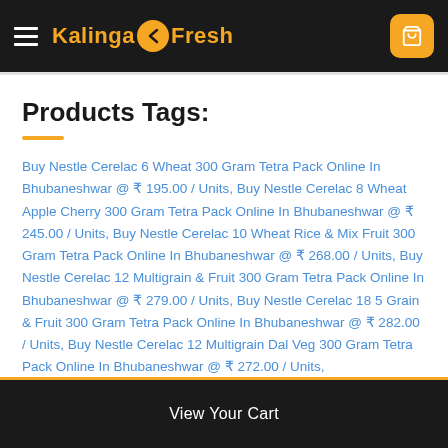KalingaFresh
Products Tags:
Buy Nestle Cerelac 6 Wheat 300 Gram Tetra Pack Online In Bhubaneshwar @ ₹ 195.00 / Units, Buy Nestle Cerelac 8 Wheat Apple Cherry 300 Gram Tetra Pack Online In Bhubaneshwar @ ₹ 245.00 / Units, Buy Nestle Cerelac 10 Wheat Rice & Mix Fruit 300 Gram Tetra Pack Online In Bhubaneshwar @ ₹ 268.00 / Units, Buy Nestle Cerelac 12 Multigrain & Fruit 300 Gram Tetra Pack Online In Bhubaneshwar @ ₹ 279.00 / Units, Buy Nestle Cerelac 18 5 Grain & Fruit 300 Gram Tetra Pack Online In Bhubaneshwar @ ₹ 282.00 / Units, Buy Nestle Cerelac 12 Multigrain Dal Veg 300 Gram Tetra Pack Online In Bhubaneshwar @ ₹ 272.00 / Units,
View Your Cart